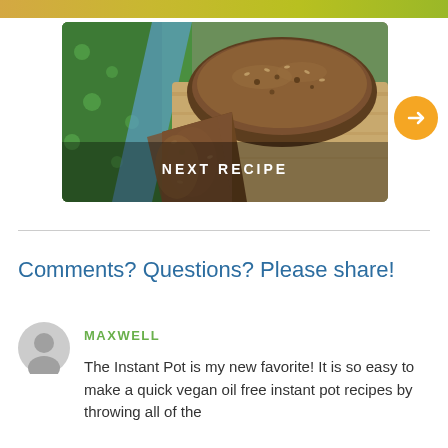[Figure (photo): Photo of sliced dark seeded bread loaf on a wooden cutting board with a green and blue cloth in the background, with 'NEXT RECIPE' text overlay and an orange arrow circle button]
Comments? Questions? Please share!
MAXWELL
The Instant Pot is my new favorite! It is so easy to make a quick vegan oil free instant pot recipes by throwing all of the